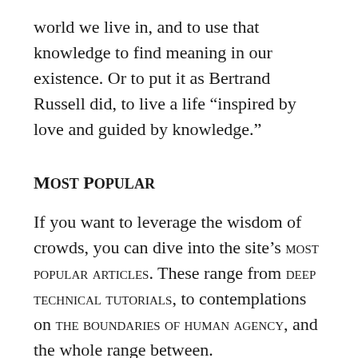world we live in, and to use that knowledge to find meaning in our existence. Or to put it as Bertrand Russell did, to live a life “inspired by love and guided by knowledge.”
Most popular
If you want to leverage the wisdom of crowds, you can dive into the site’s MOST POPULAR ARTICLES. These range from DEEP TECHNICAL TUTORIALS, to contemplations on THE BOUNDARIES OF HUMAN AGENCY, and the whole range between.